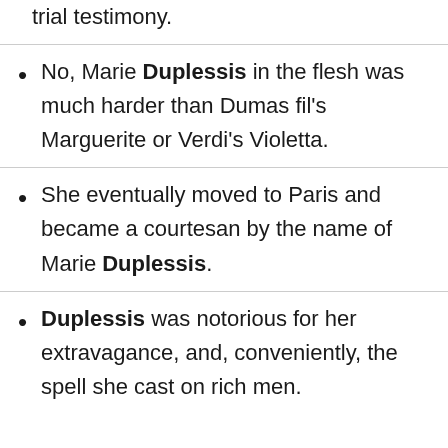trial testimony.
No, Marie Duplessis in the flesh was much harder than Dumas fil's Marguerite or Verdi's Violetta.
She eventually moved to Paris and became a courtesan by the name of Marie Duplessis.
Duplessis was notorious for her extravagance, and, conveniently, the spell she cast on rich men.